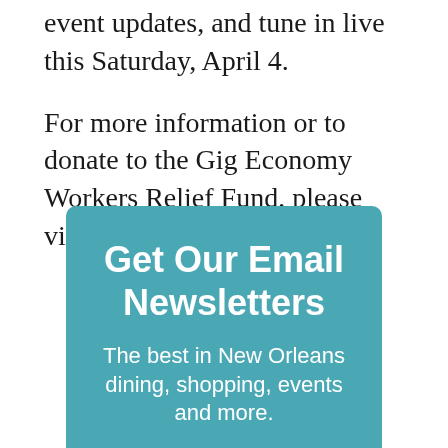event updates, and tune in live this Saturday, April 4.
For more information or to donate to the Gig Economy Workers Relief Fund, please visit nolaba.org/relief-fund.
Get Our Email Newsletters
The best in New Orleans dining, shopping, events and more.